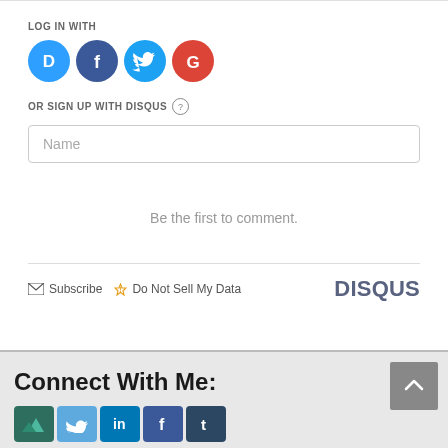LOG IN WITH
[Figure (illustration): Four social login icons: Disqus (blue circle with D), Facebook (dark blue circle with f), Twitter (light blue circle with bird), Google (red circle with G)]
OR SIGN UP WITH DISQUS ?
Name
Be the first to comment.
Subscribe  Do Not Sell My Data  DISQUS
Connect With Me:
[Figure (illustration): Row of social media icons: mountains logo, Twitter bird, LinkedIn, Facebook, Tumblr]